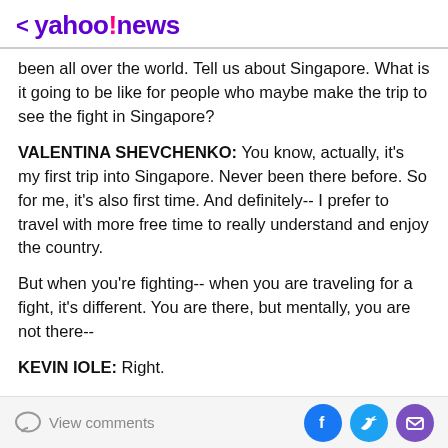< yahoo!news
been all over the world. Tell us about Singapore. What is it going to be like for people who maybe make the trip to see the fight in Singapore?
VALENTINA SHEVCHENKO: You know, actually, it's my first trip into Singapore. Never been there before. So for me, it's also first time. And definitely-- I prefer to travel with more free time to really understand and enjoy the country.
But when you're fighting-- when you are traveling for a fight, it's different. You are there, but mentally, you are not there--
KEVIN IOLE: Right.
View comments